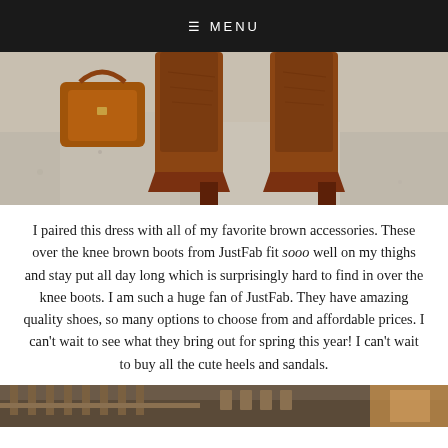≡ MENU
[Figure (photo): Close-up photo of woman's legs wearing brown over-the-knee boots and holding a brown handbag, standing on a light concrete surface.]
I paired this dress with all of my favorite brown accessories. These over the knee brown boots from JustFab fit sooo well on my thighs and stay put all day long which is surprisingly hard to find in over the knee boots. I am such a huge fan of JustFab. They have amazing quality shoes, so many options to choose from and affordable prices. I can't wait to see what they bring out for spring this year! I can't wait to buy all the cute heels and sandals.
[Figure (photo): Partial photo at bottom of page showing a street scene, partially cropped.]